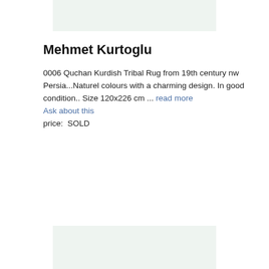[Figure (photo): Placeholder image area at the top of the page, light greenish-grey background]
Mehmet Kurtoglu
0006 Quchan Kurdish Tribal Rug from 19th century nw Persia...Naturel colours with a charming design. In good condition.. Size 120x226 cm ... read more
Ask about this
price:  SOLD
[Figure (photo): Placeholder image area at the bottom of the page, light greenish-grey background]